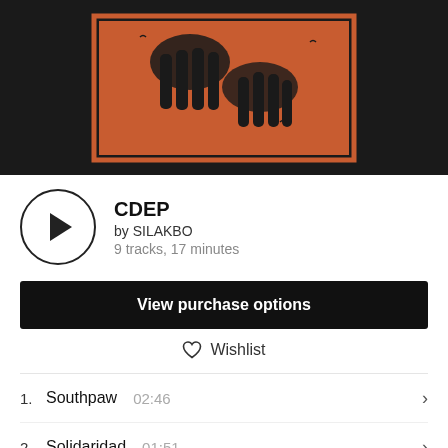[Figure (illustration): Album artwork for CDEP by SILAKBO — orange and black illustration of hands on dark background with orange border frame]
CDEP
by SILAKBO
9 tracks, 17 minutes
View purchase options
Wishlist
1.  Southpaw    02:46
2.  Solidaridad    01:51
3.  Clear    01:43